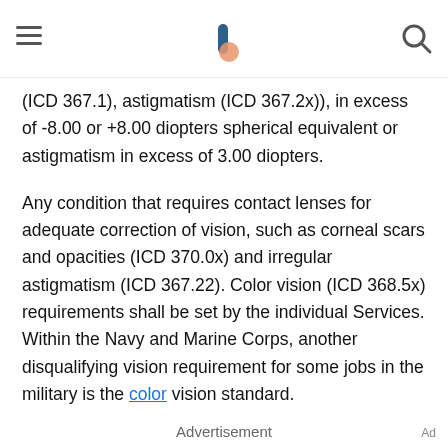[Navigation header with hamburger menu, logo, and search icon]
(ICD 367.1), astigmatism (ICD 367.2x)), in excess of -8.00 or +8.00 diopters spherical equivalent or astigmatism in excess of 3.00 diopters.
Any condition that requires contact lenses for adequate correction of vision, such as corneal scars and opacities (ICD 370.0x) and irregular astigmatism (ICD 367.22). Color vision (ICD 368.5x) requirements shall be set by the individual Services. Within the Navy and Marine Corps, another disqualifying vision requirement for some jobs in the military is the color vision standard.
Advertisement